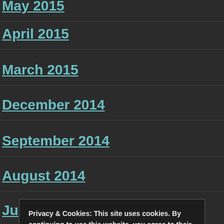May 2015
April 2015
March 2015
December 2014
September 2014
August 2014
Ju[ly 2014]
Ju[ne 2014]
M[ay 2014]
Ap[ril 2014]
Privacy & Cookies: This site uses cookies. By continuing to use this website, you agree to their use. To find out more, including how to control cookies, see here: Cookie Policy
Close and accept